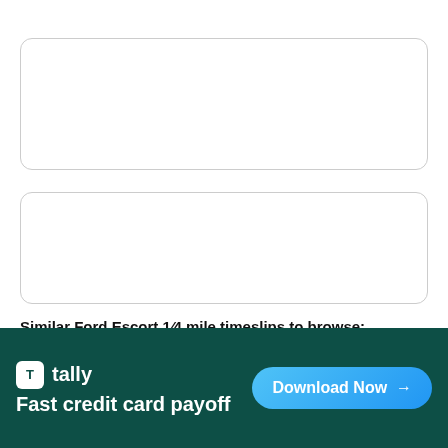[Figure (other): Empty white rounded rectangle placeholder box 1]
[Figure (other): Empty white rounded rectangle placeholder box 2]
Similar Ford Escort 1/4 mile timeslips to browse:
[Figure (other): Empty white rounded rectangle placeholder box 3 (partially visible)]
[Figure (other): Tally advertisement banner: Fast credit card payoff, Download Now button]